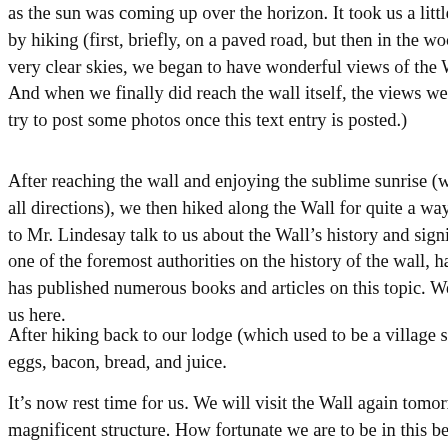William Lindesay (322), who led us up at 2:45 AM (*) as the sun was coming up over the horizon. It took us a little less by hiking (first, briefly, on a paved road, but then in the woods o very clear skies, we began to have wonderful views of the Wall. And when we finally did reach the wall itself, the views were, i try to post some photos once this text entry is posted.)
After reaching the wall and enjoying the sublime sunrise (which all directions), we then hiked along the Wall for quite a ways, st to Mr. Lindesay talk to us about the Wall's history and significa one of the foremost authorities on the history of the wall, has li has published numerous books and articles on this topic. We ar us here.
After hiking back to our lodge (which used to be a village schoo eggs, bacon, bread, and juice.
It's now rest time for us. We will visit the Wall again tomorrow magnificent structure. How fortunate we are to be in this beauti